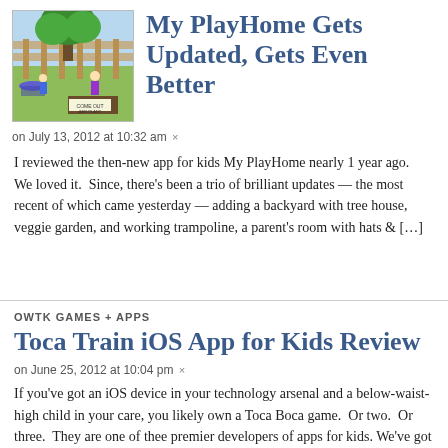[Figure (illustration): Screenshot of a children's app showing a cartoon backyard scene with a tree, children, and a garden, with text 'COME OUT AND PLANT']
My PlayHome Gets Updated, Gets Even Better
on July 13, 2012 at 10:32 am ×
I reviewed the then-new app for kids My PlayHome nearly 1 year ago.  We loved it.  Since, there's been a trio of brilliant updates — the most recent of which came yesterday — adding a backyard with tree house, veggie garden, and working trampoline, a parent's room with hats & […]
OWTK GAMES + APPS
Toca Train iOS App for Kids Review
on June 25, 2012 at 10:04 pm ×
If you've got an iOS device in your technology arsenal and a below-waist-high child in your care, you likely own a Toca Boca game.  Or two.  Or three.  They are one of thee premier developers of apps for kids. We've got them all, and a dedicated Toca folder on our iPhones